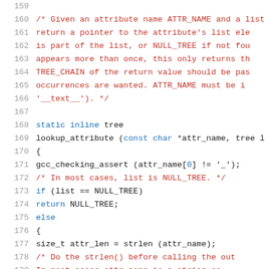Source code listing, lines 159-180, showing a C function lookup_attribute with comments and implementation.